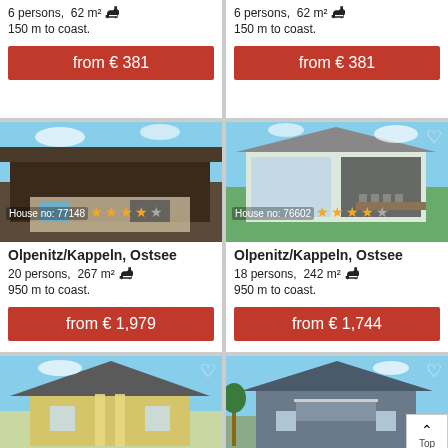6 persons, 62 m² 🐕 150 m to coast.
from € 381
6 persons, 62 m² 🐕 150 m to coast.
from € 381
[Figure (photo): Dark wooden holiday house exterior with patio, loungers and outdoor furniture. House no: 77148, 4 stars.]
[Figure (photo): Modern holiday house with large glass facade and outdoor dining table. House no: 76602, 4 stars.]
Olpenitz/Kappeln, Ostsee
20 persons, 267 m² 🐕
950 m to coast.
from € 1,979
Olpenitz/Kappeln, Ostsee
18 persons, 242 m² 🐕
950 m to coast.
from € 1,744
[Figure (photo): Yellow/cream wooden holiday house exterior under blue sky.]
[Figure (photo): Grey/blue holiday house with balcony under blue sky.]